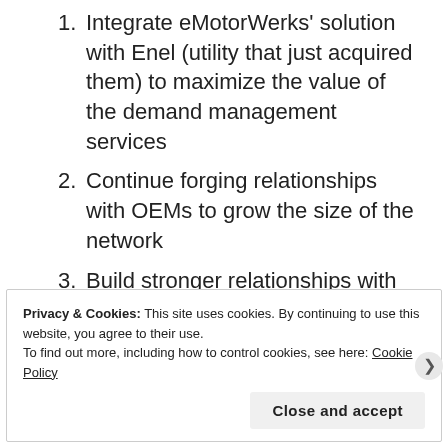Integrate eMotorWerks' solution with Enel (utility that just acquired them) to maximize the value of the demand management services
Continue forging relationships with OEMs to grow the size of the network
Build stronger relationships with potential commercial customers to ensure wide public availability of charging infrastructure
REPORT THIS AD
Privacy & Cookies: This site uses cookies. By continuing to use this website, you agree to their use.
To find out more, including how to control cookies, see here: Cookie Policy
Close and accept